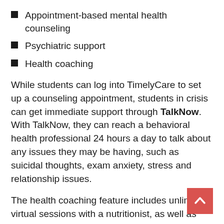Appointment-based mental health counseling
Psychiatric support
Health coaching
While students can log into TimelyCare to set up a counseling appointment, students in crisis can get immediate support through TalkNow. With TalkNow, they can reach a behavioral health professional 24 hours a day to talk about any issues they may be having, such as suicidal thoughts, exam anxiety, stress and relationship issues.
The health coaching feature includes unlimited virtual sessions with a nutritionist, as well as coaching in a variety of topics, including exercise, healthy sleep habits, blood pressure issues, mindfulness, gut health, eating disorders, and more.